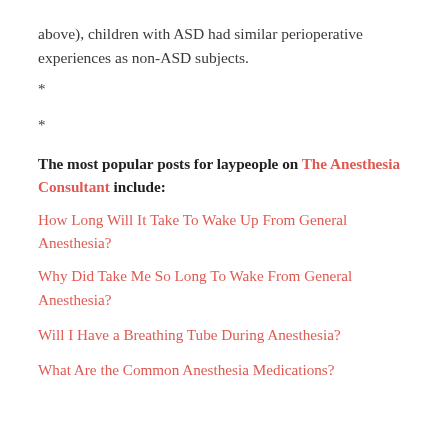above), children with ASD had similar perioperative experiences as non-ASD subjects.
*
*
The most popular posts for laypeople on The Anesthesia Consultant include:
How Long Will It Take To Wake Up From General Anesthesia?
Why Did Take Me So Long To Wake From General Anesthesia?
Will I Have a Breathing Tube During Anesthesia?
What Are the Common Anesthesia Medications?